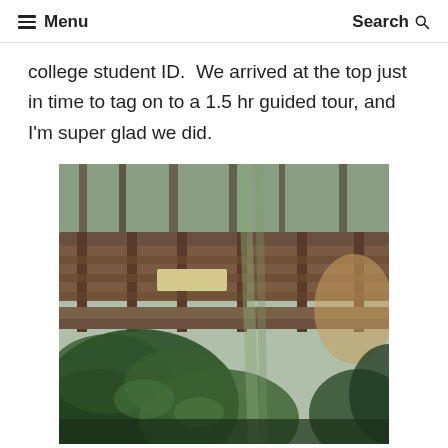≡ Menu    Search 🔍
college student ID.  We arrived at the top just in time to tag on to a 1.5 hr guided tour, and I'm super glad we did.
[Figure (photo): A wooden structure or bridge viewed through blurred green foliage in the foreground, with trees visible in the background. The scene appears to be a Japanese garden or temple area. A wooden sign or plaque is visible on the structure.]